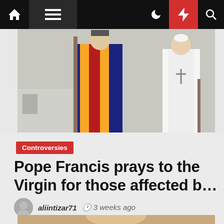Navigation bar with home, menu, moon, bolt, search icons
[Figure (photo): Photo of Pope Francis in white robes with a cane, alongside a Swiss Guard in colorful striped uniform, outdoors]
Controversies
Pope Francis prays to the Virgin for those affected b…
aliintizar71  3 weeks ago
[Figure (photo): Partial bottom teaser image showing a person's face]